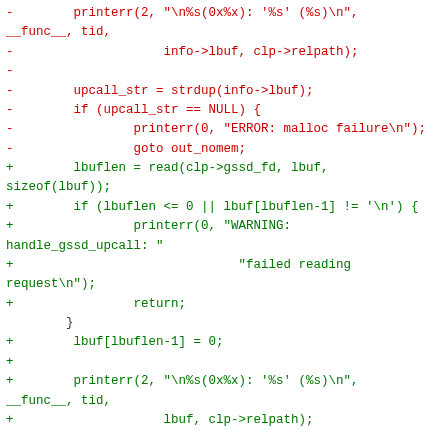Diff code snippet showing removed lines (red, prefixed with -) and added lines (green, prefixed with +) in a C source file related to gssd upcall handling.